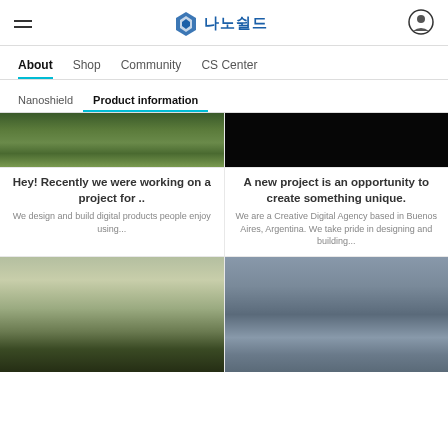나노쉴드 (NanoShield logo with hamburger menu and user icon)
About | Shop | Community | CS Center
Nanoshield | Product information
[Figure (photo): Nature/landscape photo with grass and rocks, partially cropped at top]
[Figure (photo): Dark/black photo, partially cropped at top]
Hey! Recently we were working on a project for ..
We design and build digital products people enjoy using...
A new project is an opportunity to create something unique.
We are a Creative Digital Agency based in Buenos Aires, Argentina. We take pride in designing and building...
[Figure (photo): Misty landscape with trees silhouette against pale sky]
[Figure (photo): Stormy cloudy sky with a figure/person visible]